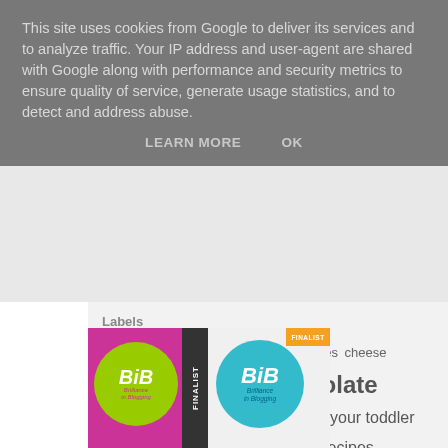This site uses cookies from Google to deliver its services and to analyze traffic. Your IP address and user-agent are shared with Google along with performance and security metrics to ensure quality of service, generate usage statistics, and to detect and address abuse.
LEARN MORE    OK
Labels
baking biscuits bread breakfast cakes cheese cheesecake chicken chocolate christmas cookies cooking with your toddler crafts cupcakes dessert easy recipes family meals halloween healthy eating home ice cream muffins pancakes pasta pudding recipe salad slow cooker travel turkey vegetarian
[Figure (photo): Two BIB (Brilliance in Blogging) finalist badges side by side - one on pink/magenta background, one on light background with teal circle]